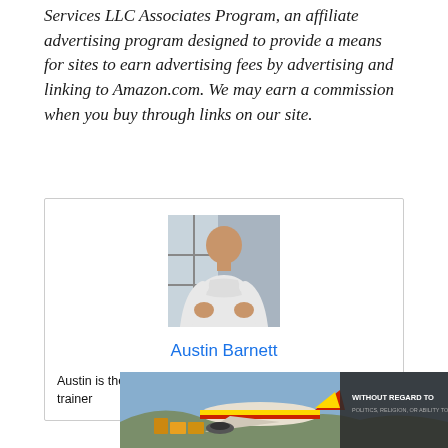Services LLC Associates Program, an affiliate advertising program designed to provide a means for sites to earn advertising fees by advertising and linking to Amazon.com. We may earn a commission when you buy through links on our site.
[Figure (photo): Author bio card with portrait photo of Austin Barnett (muscular man in white long-sleeve shirt) and name link and bio text]
Austin Barnett
Austin is the author of loveatfirstfit.com and a personal trainer
[Figure (photo): Advertisement banner showing an airplane being loaded with cargo, with text 'WITHOUT REGARD TO POLITICS, RELIGION, OR ABILITY TO PAY']